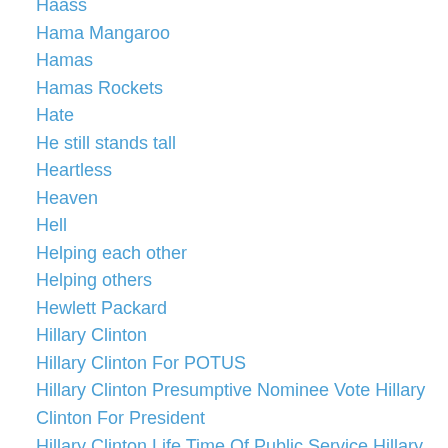Haass
Hama Mangaroo
Hamas
Hamas Rockets
Hate
He still stands tall
Heartless
Heaven
Hell
Helping each other
Helping others
Hewlett Packard
Hillary Clinton
Hillary Clinton For POTUS
Hillary Clinton Presumptive Nominee Vote Hillary Clinton For President
Hillary Clinton Life Time Of Public Service Hillary Clinton First Lady US Senator Secretary Of State First Woman Nominee Stand Wi
Hillary Firewall To The Nomination
HIllaryClinton2016
Hiroshima